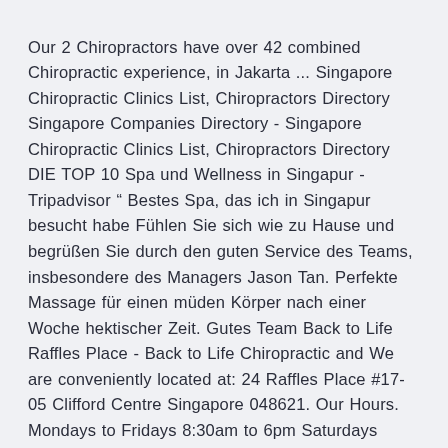Our 2 Chiropractors have over 42 combined Chiropractic experience, in Jakarta ... Singapore Chiropractic Clinics List, Chiropractors Directory Singapore Companies Directory - Singapore Chiropractic Clinics List, Chiropractors Directory DIE TOP 10 Spa und Wellness in Singapur - Tripadvisor “ Bestes Spa, das ich in Singapur besucht habe Fühlen Sie sich wie zu Hause und begrüßen Sie durch den guten Service des Teams, insbesondere des Managers Jason Tan. Perfekte Massage für einen müden Körper nach einer Woche hektischer Zeit. Gutes Team Back to Life Raffles Place - Back to Life Chiropractic and We are conveniently located at: 24 Raffles Place #17-05 Clifford Centre Singapore 048621. Our Hours. Mondays to Fridays 8:30am to 6pm Saturdays 8:30am to 1pm Closed on Sundays and public holidays.